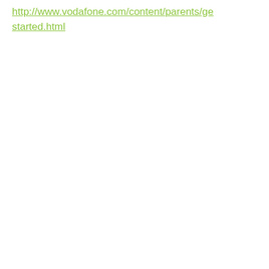http://www.vodafone.com/content/parents/ge started.html